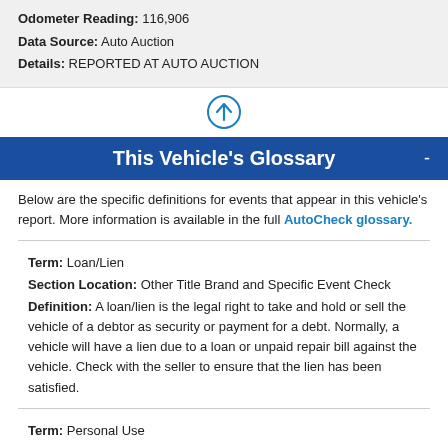Odometer Reading: 116,906
Data Source: Auto Auction
Details: REPORTED AT AUTO AUCTION
[Figure (illustration): Circle with upward arrow icon]
This Vehicle's Glossary
Below are the specific definitions for events that appear in this vehicle's report. More information is available in the full AutoCheck glossary.
Term: Loan/Lien
Section Location: Other Title Brand and Specific Event Check
Definition: A loan/lien is the legal right to take and hold or sell the vehicle of a debtor as security or payment for a debt. Normally, a vehicle will have a lien due to a loan or unpaid repair bill against the vehicle. Check with the seller to ensure that the lien has been satisfied.
Term: Personal Use
Section Location: Vehicle Use
Definition: This vehicle was driven for personal use.
[Figure (illustration): Circle with upward arrow icon at bottom]